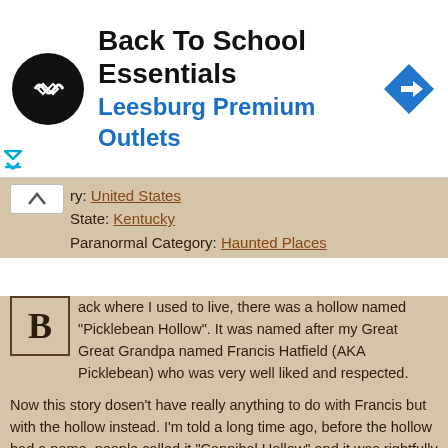[Figure (other): Advertisement banner: Back To School Essentials at Leesburg Premium Outlets, with circular logo and blue direction arrow sign]
ry: United States
State: Kentucky
Paranormal Category: Haunted Places
Back where I used to live, there was a hollow named "Picklebean Hollow". It was named after my Great Great Grandpa named Francis Hatfield (AKA Picklebean) who was very well liked and respected.
Now this story dosen't have really anything to do with Francis but with the hollow instead. I'm told a long time ago, before the hollow had a name, people called it "Cannibal Hollow" and it was rightfully named.
Forgive the history lesson, I'll get on with my encounter in a few moments. But, back in the 1800's, I am told that a family of cannibals lived up that hollow and after murdering and eating one of the locals' sons, the people living in that area had enough and slaughtered the whole family. The sheriff kept quiet about it